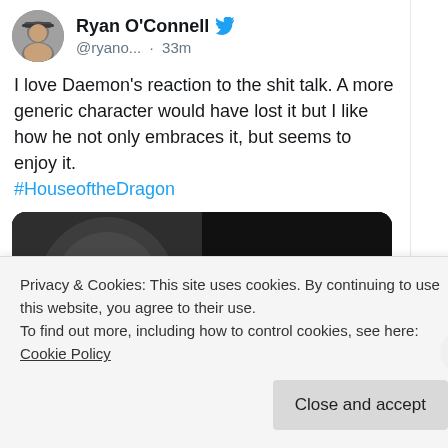[Figure (photo): Twitter/X user avatar: photo of a man wearing a cap]
Ryan O'Connell @ryano... · 33m
I love Daemon's reaction to the shit talk. A more generic character would have lost it but I like how he not only embraces it, but seems to enjoy it. #HouseoftheDragon
[Figure (photo): Dark screenshot from House of the Dragon showing a character's face partially illuminated, with a Twitter/play button overlay]
Privacy & Cookies: This site uses cookies. By continuing to use this website, you agree to their use.
To find out more, including how to control cookies, see here: Cookie Policy
Close and accept